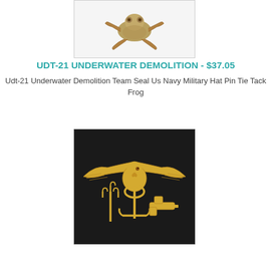[Figure (photo): Bronze/gold colored frog figurine pin against white background with gray border]
UDT-21 UNDERWATER DEMOLITION - $37.05
Udt-21 Underwater Demolition Team Seal Us Navy Military Hat Pin Tie Tack Frog
[Figure (photo): Gold Navy SEAL Trident insignia pin on black background - eagle with spread wings, anchor, trident, and pistol]